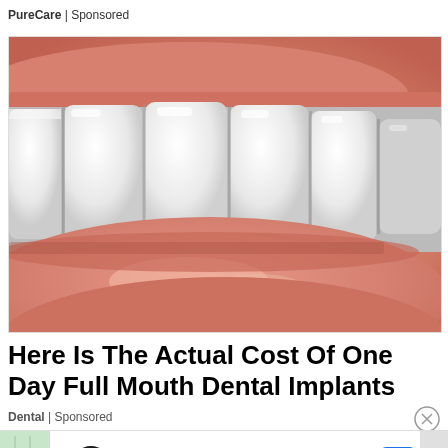PureCare | Sponsored
[Figure (photo): Close-up photograph of a person's smile showing bright white teeth (dental implants/veneers) and pink lips]
Here Is The Actual Cost Of One Day Full Mouth Dental Implants
Dental | Sponsored
Ashburn  OPEN | 7:30 AM–6PM  43781 Parkhurst Plaza, Ashburn